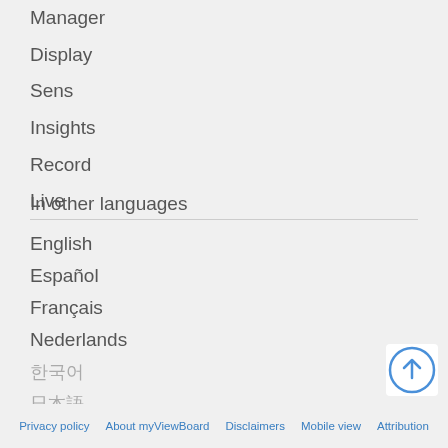Manager
Display
Sens
Insights
Record
Live
In other languages
English
Español
Français
Nederlands
한국어
日本語
[Figure (illustration): Back to top circular arrow button icon in blue]
Privacy policy   About myViewBoard   Disclaimers   Mobile view   Attribution